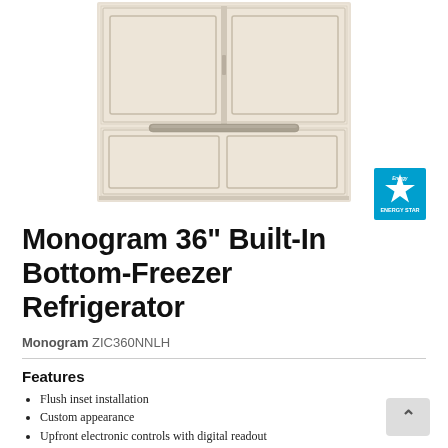[Figure (photo): Monogram 36-inch built-in bottom-freezer refrigerator with cream/beige panel-ready doors, showing two upper refrigerator doors and one lower freezer drawer with a bar handle.]
[Figure (logo): ENERGY STAR certification badge in blue and white]
Monogram 36" Built-In Bottom-Freezer Refrigerator
Monogram ZIC360NNLH
Features
Flush inset installation
Custom appearance
Upfront electronic controls with digital readout
Humidity controlled vegetable compartments and sealed